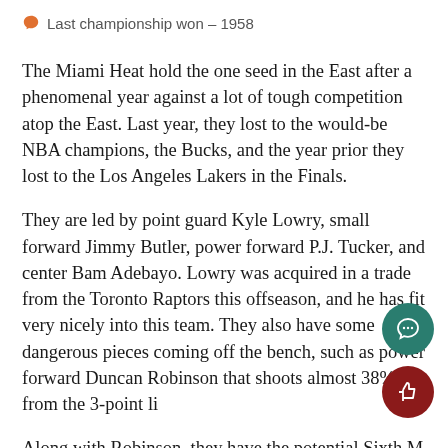Last championship won – 1958
The Miami Heat hold the one seed in the East after a phenomenal year against a lot of tough competition atop the East. Last year, they lost to the would-be NBA champions, the Bucks, and the year prior they lost to the Los Angeles Lakers in the Finals.
They are led by point guard Kyle Lowry, small forward Jimmy Butler, power forward P.J. Tucker, and center Bam Adebayo. Lowry was acquired in a trade from the Toronto Raptors this offseason, and he has fit very nicely into this team. They also have some dangerous pieces coming off the bench, such as power forward Duncan Robinson that shoots almost 38% from the 3-point li
Along with Robinson, they have the potential Sixth M of the Year in Tyler Herro, who is averaging almost 2 points per game. And, they have Victor Oladipo to